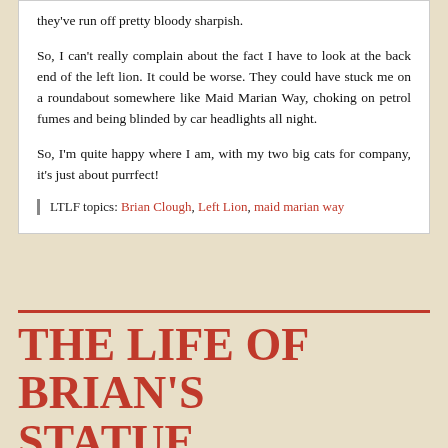they've run off pretty bloody sharpish.
So, I can't really complain about the fact I have to look at the back end of the left lion. It could be worse. They could have stuck me on a roundabout somewhere like Maid Marian Way, choking on petrol fumes and being blinded by car headlights all night.
So, I'm quite happy where I am, with my two big cats for company, it's just about purrfect!
LTLF topics: Brian Clough, Left Lion, maid marian way
THE LIFE OF BRIAN'S STATUE
The Life of Brian's Statue: A whale of a time
August 3, 2011